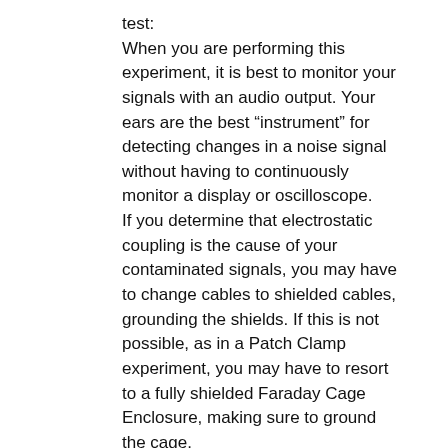test:
When you are performing this experiment, it is best to monitor your signals with an audio output. Your ears are the best "instrument" for detecting changes in a noise signal without having to continuously monitor a display or oscilloscope.
If you determine that electrostatic coupling is the cause of your contaminated signals, you may have to change cables to shielded cables, grounding the shields. If this is not possible, as in a Patch Clamp experiment, you may have to resort to a fully shielded Faraday Cage Enclosure, making sure to ground the cage.
put a grounded metallic surface